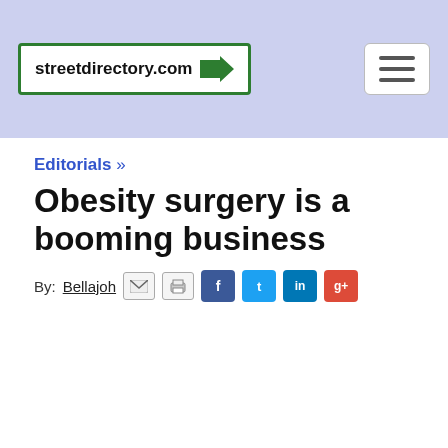streetdirectory.com
Editorials »
Obesity surgery is a booming business
By: Bellajoh